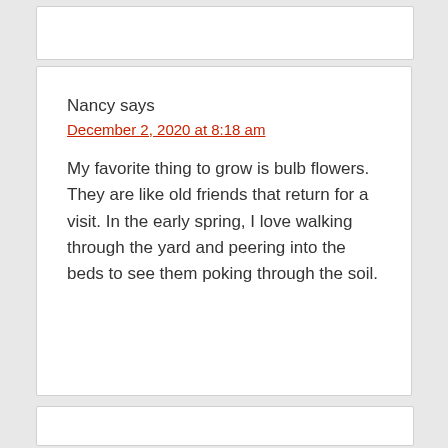Nancy says
December 2, 2020 at 8:18 am
My favorite thing to grow is bulb flowers. They are like old friends that return for a visit. In the early spring, I love walking through the yard and peering into the beds to see them poking through the soil.